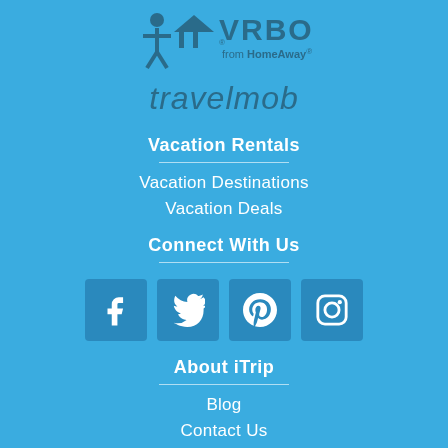[Figure (logo): VRBO from HomeAway logo with icon]
[Figure (logo): travelmob logo in italic dark blue text]
Vacation Rentals
Vacation Destinations
Vacation Deals
Connect With Us
[Figure (infographic): Four social media icons: Facebook, Twitter, Pinterest, Instagram in blue boxes]
About iTrip
Blog
Contact Us
About